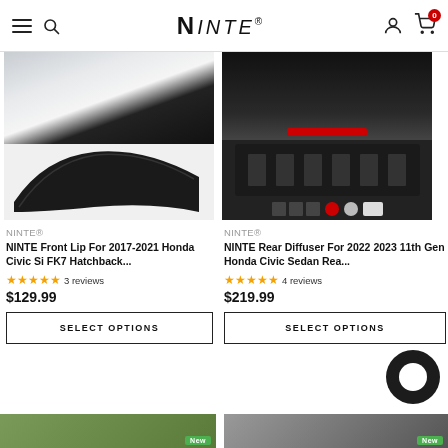NINTE® — Navigation header with logo, hamburger menu, search, account, and cart (0 items)
[Figure (photo): NINTE front lip spoiler product image for 2017-2021 Honda Civic Si FK7 Hatchback — showing installed on car (top) and standalone part (bottom)]
NINTE®
NINTE Front Lip For 2017-2021 Honda Civic Si FK7 Hatchback...
★★★★★ 3 reviews
$129.99
SELECT OPTIONS
[Figure (photo): NINTE rear diffuser product image for 2022 2023 11th Gen Honda Civic Sedan — showing installed on car (top) and product components (bottom)]
NINTE®
NINTE Rear Diffuser For 2022 2023 11th Gen Honda Civic Sedan Rea...
★★★★★ 4 reviews
$219.99
SELECT OPTI...
[Figure (photo): Bottom strip showing two more product thumbnail images with 'New' green badges]
[Figure (other): Chat support bubble in bottom right corner — dark circular icon]